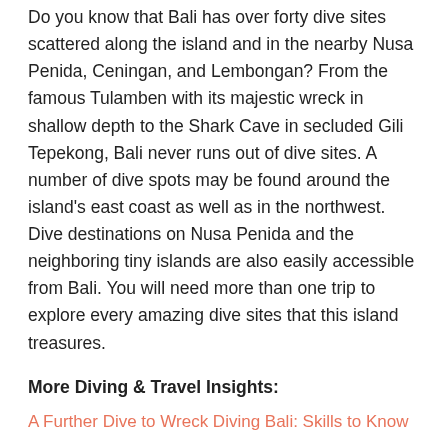Do you know that Bali has over forty dive sites scattered along the island and in the nearby Nusa Penida, Ceningan, and Lembongan? From the famous Tulamben with its majestic wreck in shallow depth to the Shark Cave in secluded Gili Tepekong, Bali never runs out of dive sites. A number of dive spots may be found around the island's east coast as well as in the northwest. Dive destinations on Nusa Penida and the neighboring tiny islands are also easily accessible from Bali. You will need more than one trip to explore every amazing dive sites that this island treasures.
More Diving & Travel Insights:
A Further Dive to Wreck Diving Bali: Skills to Know
One of Few Places in the World to See the Rare and Perplexing Mola